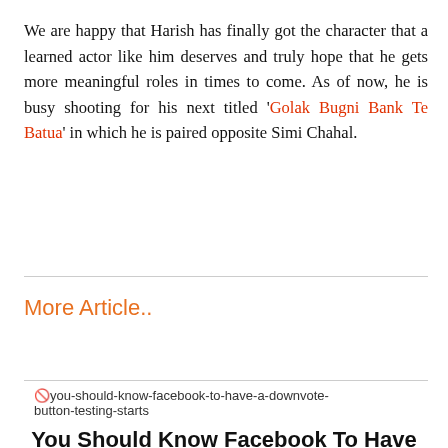We are happy that Harish has finally got the character that a learned actor like him deserves and truly hope that he gets more meaningful roles in times to come. As of now, he is busy shooting for his next titled 'Golak Bugni Bank Te Batua' in which he is paired opposite Simi Chahal.
More Article..
[Figure (other): Broken image placeholder with alt text: you-should-know-facebook-to-have-a-downvote-button-testing-starts]
You Should Know Facebook To Have A Downvote Button...